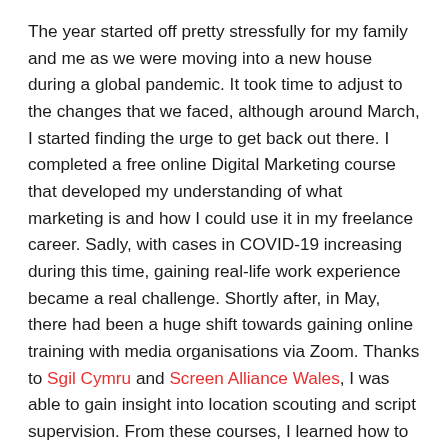The year started off pretty stressfully for my family and me as we were moving into a new house during a global pandemic. It took time to adjust to the changes that we faced, although around March, I started finding the urge to get back out there. I completed a free online Digital Marketing course that developed my understanding of what marketing is and how I could use it in my freelance career. Sadly, with cases in COVID-19 increasing during this time, gaining real-life work experience became a real challenge. Shortly after, in May, there had been a huge shift towards gaining online training with media organisations via Zoom. Thanks to Sgil Cymru and Screen Alliance Wales, I was able to gain insight into location scouting and script supervision. From these courses, I learned how to produce master breakdowns from a script, maintain continuity and find suitable filming locations.